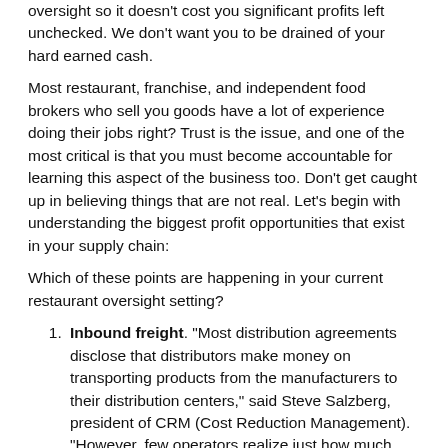oversight so it doesn't cost you significant profits left unchecked. We don't want you to be drained of your hard earned cash.
Most restaurant, franchise, and independent food brokers who sell you goods have a lot of experience doing their jobs right? Trust is the issue, and one of the most critical is that you must become accountable for learning this aspect of the business too. Don't get caught up in believing things that are not real. Let's begin with understanding the biggest profit opportunities that exist in your supply chain:
Which of these points are happening in your current restaurant oversight setting?
Inbound freight. “Most distribution agreements disclose that distributors make money on transporting products from the manufacturers to their distribution centers,” said Steve Salzberg, president of CRM (Cost Reduction Management). “However, few operators realize just how much profit is lost to this one component of product cost.”
Verified pricing. Confirming that each invoice is priced correctly is an arduous task, so most operators rely on spot-checking invoices or waiting for a food cost spike to make them dig deeper. “My purchasing responsibilities